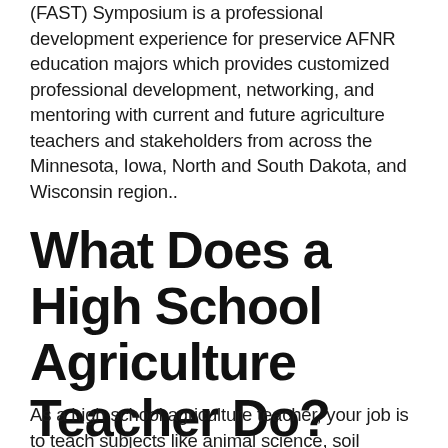(FAST) Symposium is a professional development experience for preservice AFNR education majors which provides customized professional development, networking, and mentoring with current and future agriculture teachers and stakeholders from across the Minnesota, Iowa, North and South Dakota, and Wisconsin region..
What Does a High School Agriculture Teacher Do?
As a high school agriculture teacher, your job is to teach subjects like animal science, soil